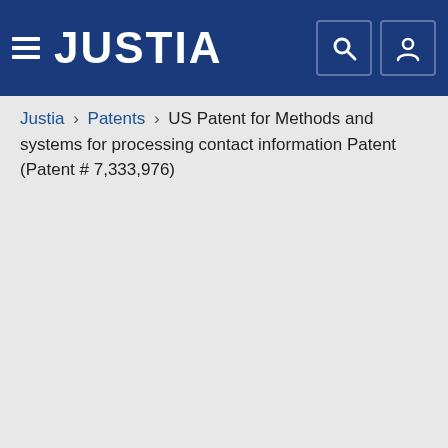JUSTIA
Justia › Patents › US Patent for Methods and systems for processing contact information Patent (Patent # 7,333,976)